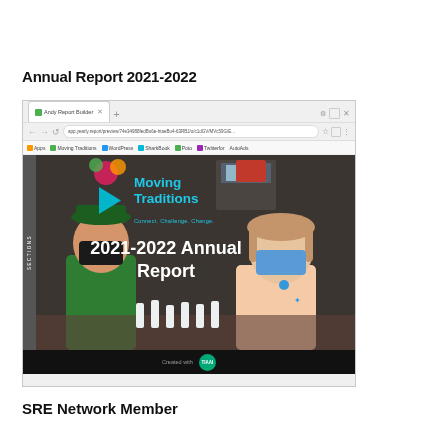Annual Report 2021-2022
[Figure (screenshot): Browser screenshot showing the Moving Traditions 2021-2022 Annual Report web page with a video thumbnail. Two masked students are visible in a classroom setting. The video overlay shows 'Moving Traditions Connect. Challenge. Change.' and '2021-2022 Annual Report' text in cyan/white. A play button is visible. The bottom bar shows 'Created with TIAAI'.]
SRE Network Member